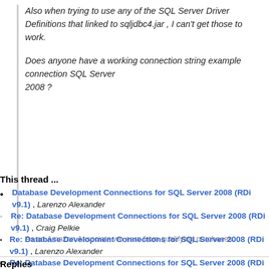Also when trying to use any of the SQL Server Driver Definitions that linked to sqljdbc4.jar , I can't get those to work.
Does anyone have a working connection string example connection SQL Server 2008 ?
As an Amazon Associate we earn from qualifying purchases.
This thread ...
Database Development Connections for SQL Server 2008 (RDi v9.1) , Larenzo Alexander
Re: Database Development Connections for SQL Server 2008 (RDi v9.1) , Craig Pelkie
Re: Database Development Connections for SQL Server 2008 (RDi v9.1) , Larenzo Alexander
Re: Database Development Connections for SQL Server 2008 (RDi v9.1), Buck Calabro ←
Replies